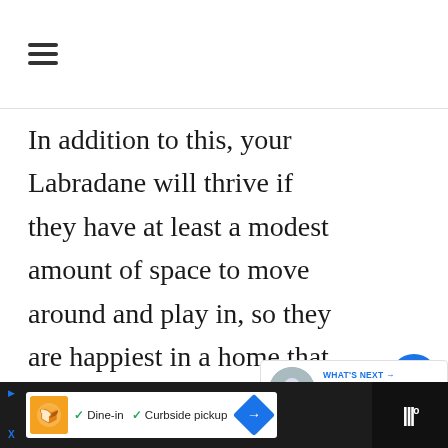☰ (hamburger menu)
In addition to this, your Labradane will thrive if they have at least a modest amount of space to move around and play in, so they are happiest in a home that has a spacious, fenced-in backyard they can roughhouse in.
[Figure (screenshot): Social interaction buttons: heart/like button (blue circle with heart icon), count of 2, share button (circle with share icon)]
[Figure (screenshot): What's Next panel with dog thumbnail, label 'WHAT'S NEXT →', and text 'Great Pyrenees La...']
[Figure (screenshot): Article card area with partial dog photo at bottom]
[Figure (screenshot): Advertisement bar at bottom: restaurant ad with orange logo, Dine-in checkmark, Curbside pickup checkmark, blue navigation arrow icon, and dark right panel with triple bar icon and degree symbol]